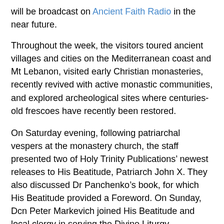will be broadcast on Ancient Faith Radio in the near future.
Throughout the week, the visitors toured ancient villages and cities on the Mediterranean coast and Mt Lebanon, visited early Christian monasteries, recently revived with active monastic communities, and explored archeological sites where centuries-old frescoes have recently been restored.
On Saturday evening, following patriarchal vespers at the monastery church, the staff presented two of Holy Trinity Publications’ newest releases to His Beatitude, Patriarch John X. They also discussed Dr Panchenko’s book, for which His Beatitude provided a Foreword. On Sunday, Dcn Peter Markevich joined His Beatitude and local clergy in serving the Divine Liturgy.
Holy Trinity Publications is deeply indebted to the Institute of Theology, its dean Fr Porphyrios Georgi, the staff and seminarians, for their selfless hospitality and to Dr Panchenko for joining us for the festivities. His book, Arab Orthodox Christians Under the Ottomans, 1516-1831, is available directly from the publisher or from any good